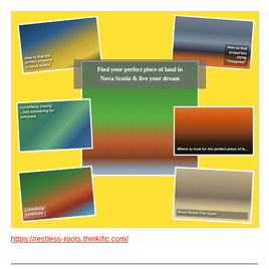[Figure (infographic): Yellow background collage of 6 thumbnail images arranged around a central large image of a lakeside scene with trees. Top-left: sunset/water scene with text 'How to find the perfect property in Nova Scotia'. Top-right: lake with clouds and text 'How to find properties using Viewpoint'. Center: large image of forest and lake with a person and dog, overlaid with text 'Find your perfect piece of land in Nova Scotia & live your dream'. Middle-left: aerial map labeled 'Lunenburg County... has something for everyone'. Middle-right: sunset image with text 'Where to look for the perfect piece of la...'. Bottom-left: forest/lake image with text label. Bottom-right: beach scene with dog and text 'Nova Scotia Fun Facts'.]
https://restless-roots.thinkific.com/